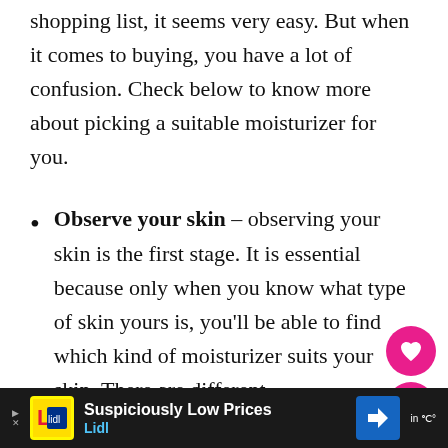shopping list, it seems very easy. But when it comes to buying, you have a lot of confusion. Check below to know more about picking a suitable moisturizer for you.
Observe your skin – observing your skin is the first stage. It is essential because only when you know what type of skin yours is, you'll be able to find which kind of moisturizer suits your skin. There are different